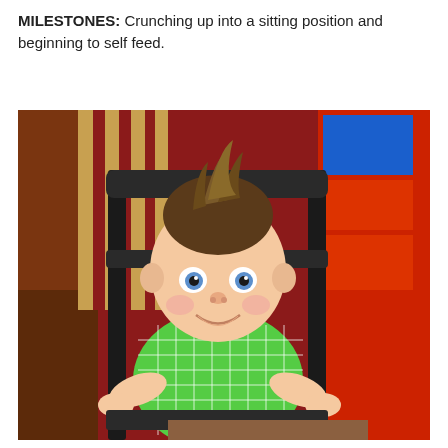MILESTONES:  Crunching up into a sitting position and beginning to self feed.
[Figure (photo): A smiling baby with spiky hair sitting in a black wooden chair, wearing a green gingham shirt with a navy bow tie. Background shows red walls, striped curtains, and colorful toy storage.]